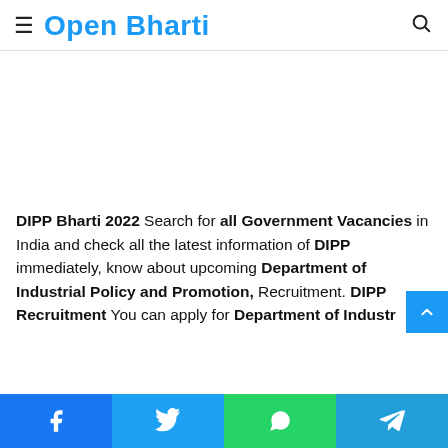Open Bharti
[Figure (other): Advertisement / blank white space]
DIPP Bharti 2022 Search for all Government Vacancies in India and check all the latest information of DIPP immediately, know about upcoming Department of Industrial Policy and Promotion, Recruitment. DIPP Recruitment You can apply for Department of Industr…
Facebook | Twitter | WhatsApp | Telegram